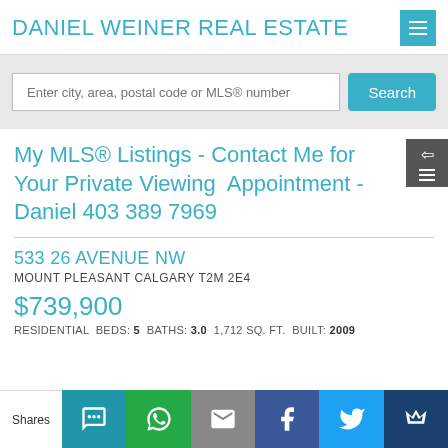DANIEL WEINER REAL ESTATE
Enter city, area, postal code or MLS® number
My MLS® Listings - Contact Me for Your Private Viewing Appointment - Daniel 403 389 7969
533 26 AVENUE NW
MOUNT PLEASANT CALGARY T2M 2E4
$739,900
RESIDENTIAL BEDS: 5 BATHS: 3.0 1,712 SQ. FT. BUILT: 2009